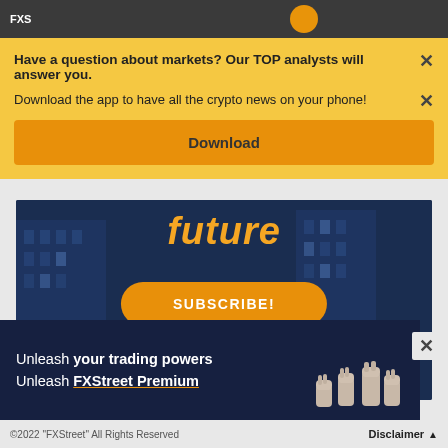FXStreet navigation bar
Have a question about markets? Our TOP analysts will answer you.
Download the app to have all the crypto news on your phone!
Download
[Figure (screenshot): Hero banner showing italic orange text 'future' over a dark blue cityscape background with a skyscraper, with an orange SUBSCRIBE! button and illustrated raised fist icons below.]
[Figure (infographic): Dark navy ad banner reading 'Unleash your trading powers Unleash FXStreet Premium' with raised fist illustrations on the right side.]
©2022 "FXStreet" All Rights Reserved    Disclaimer ▲